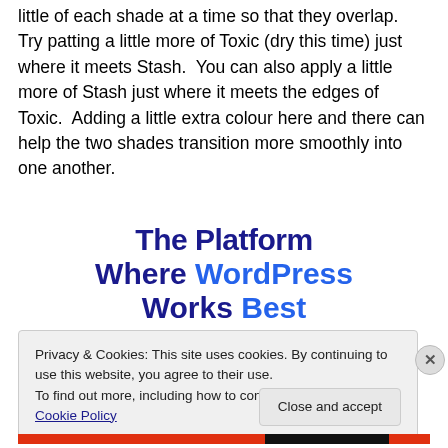little of each shade at a time so that they overlap.  Try patting a little more of Toxic (dry this time) just where it meets Stash.  You can also apply a little more of Stash just where it meets the edges of Toxic.  Adding a little extra colour here and there can help the two shades transition more smoothly into one another.
[Figure (other): Advertisement banner: 'The Platform Where WordPress Works Best' with WordPress and Best in blue, rest in dark navy bold text]
Privacy & Cookies: This site uses cookies. By continuing to use this website, you agree to their use.
To find out more, including how to control cookies, see here: Cookie Policy
Close and accept